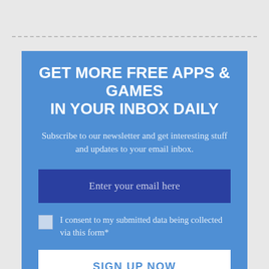GET MORE FREE APPS & GAMES IN YOUR INBOX DAILY
Subscribe to our newsletter and get interesting stuff and updates to your email inbox.
Enter your email here
I consent to my submitted data being collected via this form*
SIGN UP NOW
The form collects name and email so that we can add you to our newsletter list for project